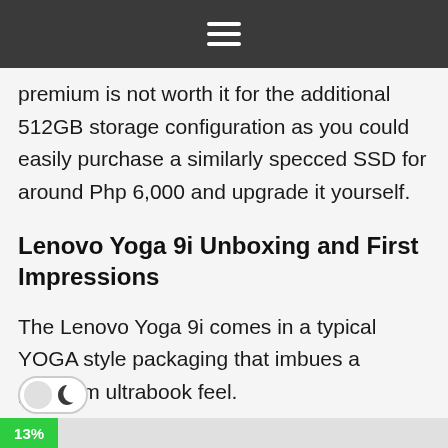≡
premium is not worth it for the additional 512GB storage configuration as you could easily purchase a similarly specced SSD for around Php 6,000 and upgrade it yourself.
Lenovo Yoga 9i Unboxing and First Impressions
The Lenovo Yoga 9i comes in a typical YOGA style packaging that imbues a premium ultrabook feel.
13%